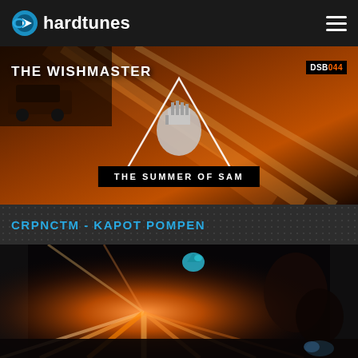hardtunes
[Figure (illustration): The Wishmaster - The Summer of Sam album/release banner. Dark orange/red background with car and light streaks, fist holding a trophy graphic in center triangle, DSB044 badge top right, THE SUMMER OF SAM label at bottom.]
CRPNCTM - KAPOT POMPEN
[Figure (photo): Concert/festival photo with dramatic orange light beams radiating from center stage, crowd silhouette at bottom, dark background with abstract swirling elements, teal dinosaur logo visible near top center.]